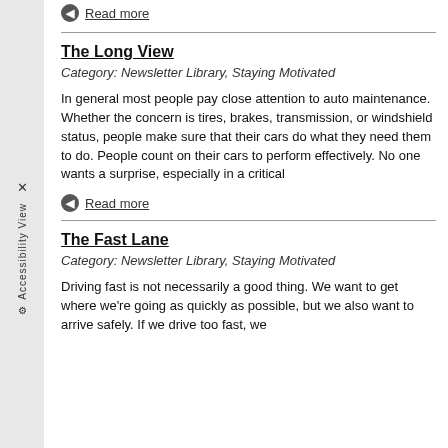Read more
The Long View
Category: Newsletter Library, Staying Motivated
In general most people pay close attention to auto maintenance. Whether the concern is tires, brakes, transmission, or windshield status, people make sure that their cars do what they need them to do. People count on their cars to perform effectively. No one wants a surprise, especially in a critical
Read more
The Fast Lane
Category: Newsletter Library, Staying Motivated
Driving fast is not necessarily a good thing. We want to get where we're going as quickly as possible, but we also want to arrive safely. If we drive too fast, we